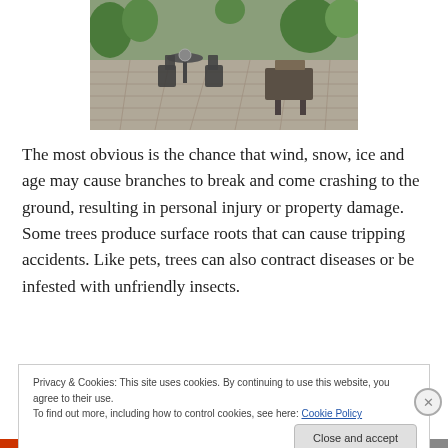[Figure (photo): Outdoor patio with metal garden furniture (chairs and tables) on a paved stone surface, with greenery in the background]
The most obvious is the chance that wind, snow, ice and age may cause branches to break and come crashing to the ground, resulting in personal injury or property damage. Some trees produce surface roots that can cause tripping accidents. Like pets, trees can also contract diseases or be infested with unfriendly insects.
Privacy & Cookies: This site uses cookies. By continuing to use this website, you agree to their use.
To find out more, including how to control cookies, see here: Cookie Policy
Close and accept